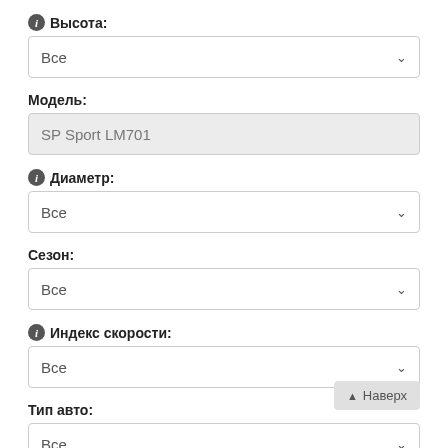ℹ Высота:
[Figure (screenshot): Dropdown selector showing 'Все' for Высота]
Модель:
[Figure (screenshot): Text input field showing 'SP Sport LM701']
ℹ Диаметр:
[Figure (screenshot): Dropdown selector showing 'Все' for Диаметр]
Сезон:
[Figure (screenshot): Dropdown selector showing 'Все' for Сезон]
ℹ Индекс скорости:
[Figure (screenshot): Dropdown selector showing 'Все' for Индекс скорости]
Тип авто:
[Figure (screenshot): Dropdown selector showing 'Все' for Тип авто]
▲ Наверх